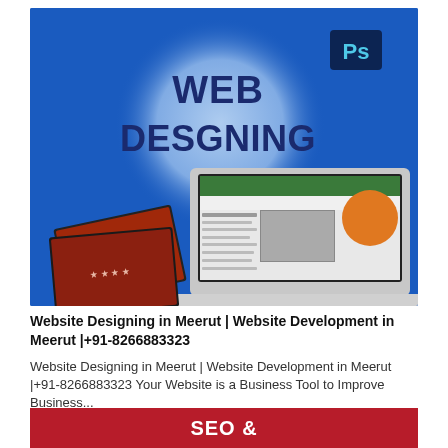[Figure (illustration): Blue background promotional image for web designing services showing a laptop with a website displayed, HTML5 logo, Photoshop logo, scattered photos/prints, and a glowing circle with bold text 'WEB DESGNING' in the center.]
Website Designing in Meerut | Website Development in Meerut |+91-8266883323
Website Designing in Meerut | Website Development in Meerut |+91-8266883323 Your Website is a Business Tool to Improve Business...
SEO &